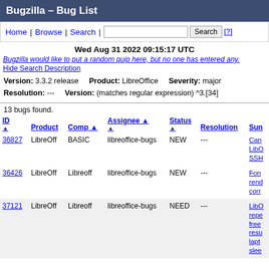Bugzilla – Bug List
Home | Browse | Search | [Search box] [Search] [?]
Wed Aug 31 2022 09:15:17 UTC
Bugzilla would like to put a random quip here, but no one has entered any.
Hide Search Description
Version: 3.3.2 release    Product: LibreOffice    Severity: major
Resolution: ---    Version: (matches regular expression) ^3.[34]
13 bugs found.
| ID | Product | Comp | Assignee | Status | Resolution | Sum |
| --- | --- | --- | --- | --- | --- | --- |
| 36827 | LibreOff | BASIC | libreoffice-bugs | NEW | --- | Can LibO LibreOff SSH |
| 36426 | LibreOff | Libreoff | libreoffice-bugs | NEW | --- | Fon rend corr |
| 37121 | LibreOff | Libreoff | libreoffice-bugs | NEED | --- | LibO repe free resu lapt slee |